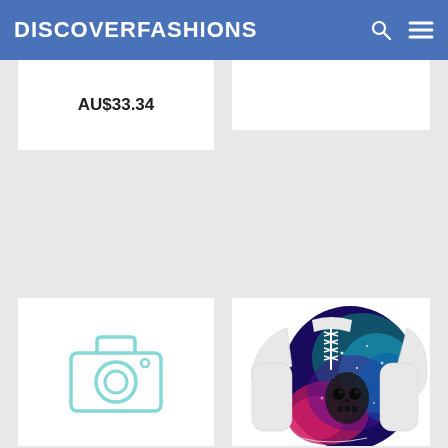DISCOVERFASHIONS
AU$33.34
[Figure (photo): White card placeholder (no image)]
[Figure (photo): Camera icon placeholder on white card]
[Figure (photo): Galaxy skull lace-up long sleeve t-shirt product photo on white card]